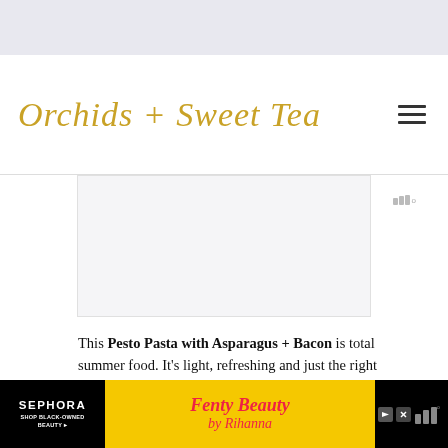Orchids + Sweet Tea
This Pesto Pasta with Asparagus + Bacon is total summer food. It’s light, refreshing and just the right amount of smoky and meaty, thanks to bacon.
[Figure (photo): Close-up of a white bowl with garlic cloves and herbs on a white wooden surface, with a hand holding cooking utensils]
[Figure (infographic): Sephora advertisement: SEPHORA SHOP BLACK-OWNED BEAUTY, featuring Fenty Beauty by Rihanna]
Mediavine